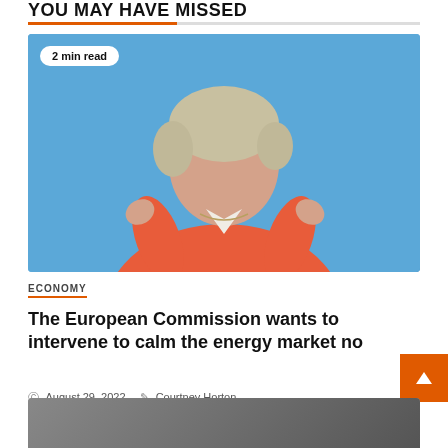YOU MAY HAVE MISSED
[Figure (photo): Woman in orange/coral jacket with short blonde hair speaking at an event against a blue background, with microphone headset. Badge reads '2 min read'.]
ECONOMY
The European Commission wants to intervene to calm the energy market no
August 29, 2022   Courtney Horton
[Figure (photo): Partially visible grayscale photo at the bottom of the page.]